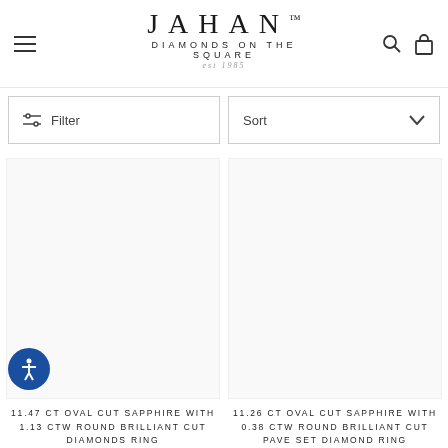JAHAN™ DIAMONDS on the SQUARE est 1985
Filter
Sort
11.47 CT OVAL CUT SAPPHIRE WITH 1.13 CTW ROUND BRILLIANT CUT DIAMONDS RING
11.26 CT OVAL CUT SAPPHIRE WITH 0.38 CTW ROUND BRILLIANT CUT PAVE SET DIAMOND RING